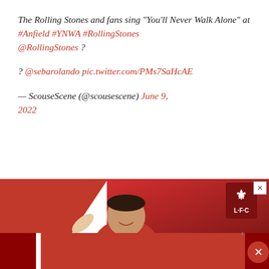The Rolling Stones and fans sing "You'll Never Walk Alone" at #Anfield #YNWA #RollingStones @RollingStones ?

? @sebarolando pic.twitter.com/PMs7SaHcAE

— ScouseScene (@scousescene) June 9, 2022
[Figure (photo): Liverpool FC advertisement banner showing a smiling footballer in a red Liverpool FC jersey with Standard Chartered sponsor, waving. LFC Liver Bird badge visible in top right corner. Close button (X) in top right. Red and white background with geometric shapes.]